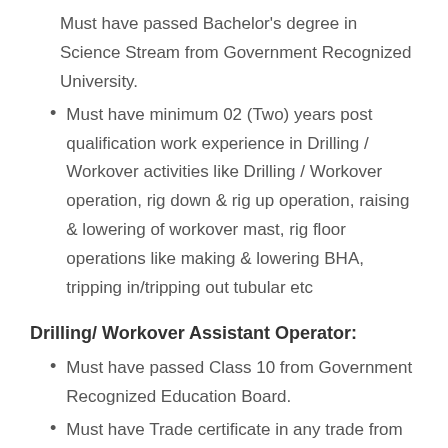Must have passed Bachelor's degree in Science Stream from Government Recognized University.
Must have minimum 02 (Two) years post qualification work experience in Drilling / Workover activities like Drilling / Workover operation, rig down & rig up operation, raising & lowering of workover mast, rig floor operations like making & lowering BHA, tripping in/tripping out tubular etc
Drilling/ Workover Assistant Operator:
Must have passed Class 10 from Government Recognized Education Board.
Must have Trade certificate in any trade from Government Recognized Institute.
Must have minimum 02 (Two) years post